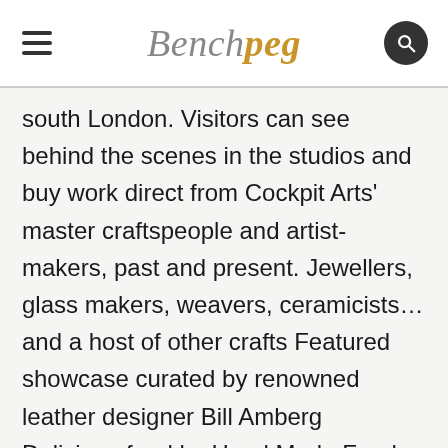Benchpeg
south London. Visitors can see behind the scenes in the studios and buy work direct from Cockpit Arts' master craftspeople and artist-makers, past and present. Jewellers, glass makers, weavers, ceramicists… and a host of other crafts Featured showcase curated by renowned leather designer Bill Amberg Delicious food by Hand Made Food café Crafts magazine pop-up stall Demonstrations and talks from makers including Dovile Bertulyte, Julie Kouamo, and Lucy McGrath Yorkshire born singer